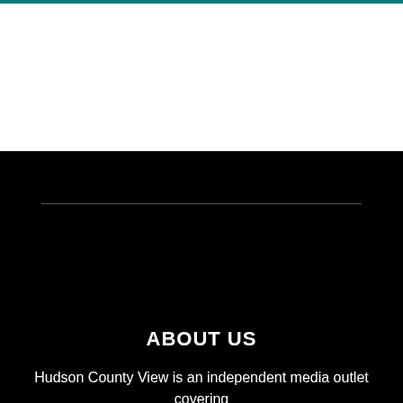[Figure (other): White top section with teal top border, representing a website header area]
ABOUT US
Hudson County View is an independent media outlet covering